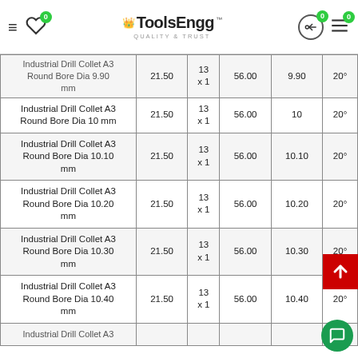ToolsEngg – Quality & Trust
| Product | Col2 | Col3 | Col4 | Col5 | Col6 |
| --- | --- | --- | --- | --- | --- |
| Industrial Drill Collet A3 Round Bore Dia 9.90 mm | 21.50 | 13 x 1 | 56.00 | 9.90 | 20° |
| Industrial Drill Collet A3 Round Bore Dia 10 mm | 21.50 | 13 x 1 | 56.00 | 10 | 20° |
| Industrial Drill Collet A3 Round Bore Dia 10.10 mm | 21.50 | 13 x 1 | 56.00 | 10.10 | 20° |
| Industrial Drill Collet A3 Round Bore Dia 10.20 mm | 21.50 | 13 x 1 | 56.00 | 10.20 | 20° |
| Industrial Drill Collet A3 Round Bore Dia 10.30 mm | 21.50 | 13 x 1 | 56.00 | 10.30 | 20° |
| Industrial Drill Collet A3 Round Bore Dia 10.40 mm | 21.50 | 13 x 1 | 56.00 | 10.40 | 20° |
| Industrial Drill Collet A3 | 21.50 | 13 x 1 | 56.00 |  | 20° |